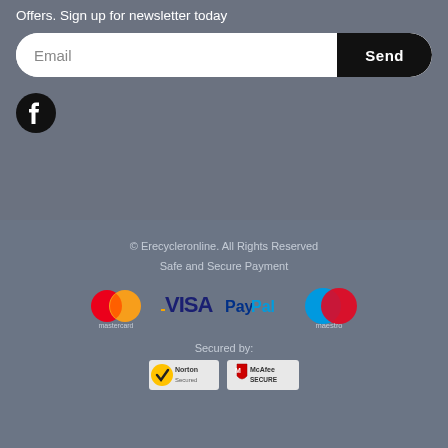Offers. Sign up for newsletter today
[Figure (screenshot): Email input field with Send button, styled as pill/rounded rectangle. White input area on left labeled 'Email', black rounded button on right labeled 'Send'.]
[Figure (logo): Facebook logo icon - black circle with white 'f' letter]
© Erecycleronline. All Rights Reserved
Safe and Secure Payment
[Figure (logo): Payment logos: Mastercard, Visa, PayPal, Maestro]
Secured by:
[Figure (logo): Security logos: Norton and McAfee SECURE]